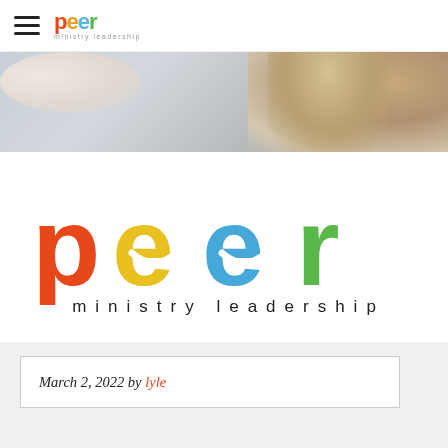peer ministry leadership
[Figure (photo): Hero banner photo showing blurred people, a woman with long hair visible on the right side]
[Figure (logo): Large peer ministry leadership logo: 'p' in orange-red, 'e' in yellow, 'e' in blue, 'r' in green, with 'ministry leadership' in black below]
March 2, 2022 by lyle